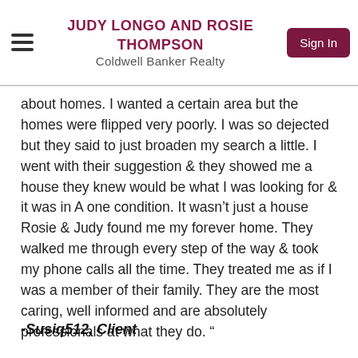JUDY LONGO AND ROSIE THOMPSON
Coldwell Banker Realty
about homes. I wanted a certain area but the homes were flipped very poorly. I was so dejected but they said to just broaden my search a little. I went with their suggestion & they showed me a house they knew would be what I was looking for & it was in A one condition. It wasn't just a house Rosie & Judy found me my forever home. They walked me through every step of the way & took my phone calls all the time. They treated me as if I was a member of their family. They are the most caring, well informed and are absolutely professionals at what they do. "
-Susiq512, Client